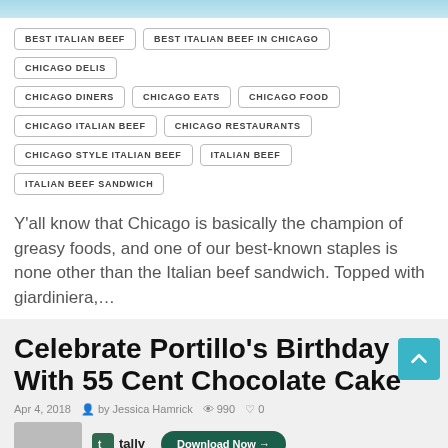[Figure (photo): Partial top image, cropped food/article header photo]
BEST ITALIAN BEEF
BEST ITALIAN BEEF IN CHICAGO
CHICAGO DELIS
CHICAGO DINERS
CHICAGO EATS
CHICAGO FOOD
CHICAGO ITALIAN BEEF
CHICAGO RESTAURANTS
CHICAGO STYLE ITALIAN BEEF
ITALIAN BEEF
ITALIAN BEEF SANDWICH
Y'all know that Chicago is basically the champion of greasy foods, and one of our best-known staples is none other than the Italian beef sandwich. Topped with giardiniera,…
Celebrate Portillo's Birthday With 55 Cent Chocolate Cake
Apr 4, 2018 · by Jessica Hamrick · 990 · 0